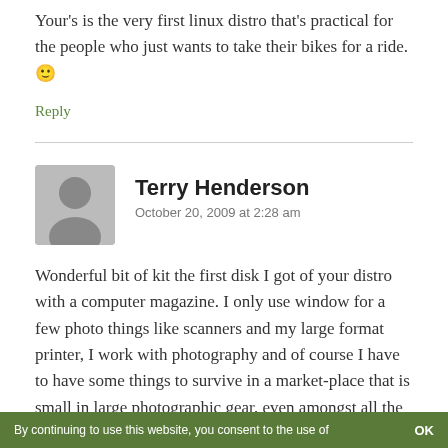never, ever try to maintain your bike.

Your's is the very first linux distro that's practical for the people who just wants to take their bikes for a ride. 🙂
Reply
Terry Henderson
October 20, 2009 at 2:28 am
Wonderful bit of kit the first disk I got of your distro with a computer magazine. I only use window for a few photo things like scanners and my large format printer, I work with photography and of course I have to have some things to survive in a market-place that is small in large photographic gear, even amongst all the pro's in the World, so yes the few that I do need from
By continuing to use this website, you consent to the use of   OK